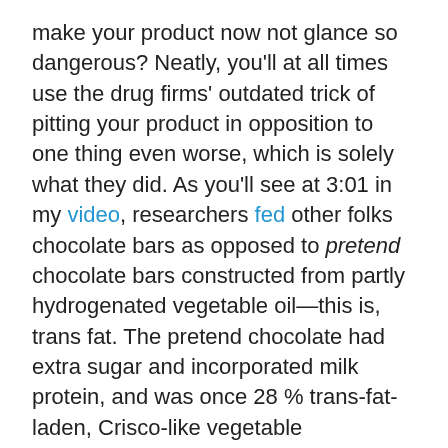make your product now not glance so dangerous? Neatly, you'll at all times use the drug firms' outdated trick of pitting your product in opposition to one thing even worse, which is solely what they did. As you'll see at 3:01 in my video, researchers fed other folks chocolate bars as opposed to pretend chocolate bars constructed from partly hydrogenated vegetable oil—this is, trans fat. The pretend chocolate had extra sugar and incorporated milk protein, and was once 28 % trans-fat-laden, Crisco-like vegetable shortening. No longer unusually, topics were given simply as many zits at the pretend chocolate bars as the actual ones, which allowed the researchers to conclude that consuming top quantities of chocolate is a-okay in the case of pimples.
The clinical group fell for it. "Have we been responsible of taking sweet clear of young children?" "Too many sufferers harbor the fable that their well being can someway be